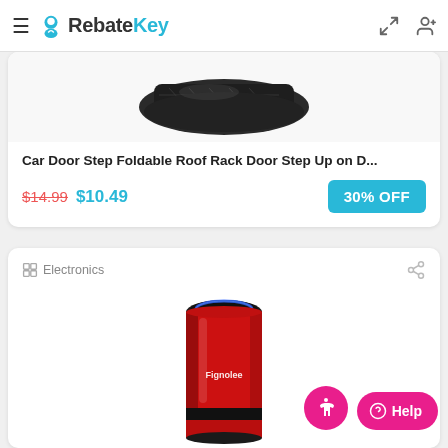RebateKey
[Figure (photo): Product image of a black car door step foldable roof rack accessory, shown partially cropped at top]
Car Door Step Foldable Roof Rack Door Step Up on D...
$14.99 $10.49 30% OFF
Electronics
[Figure (photo): Product image of a red cylindrical Fignolee electronic device (air purifier or similar) with blue LED ring on top]